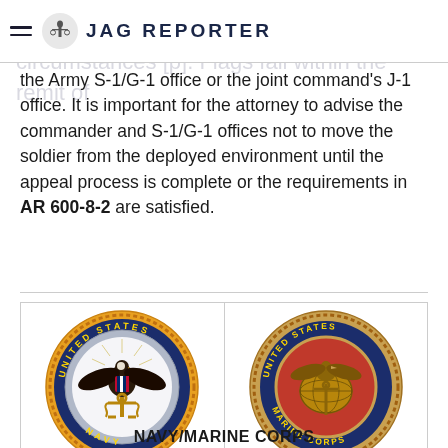JAG REPORTER
the Army S-1/G-1 office or the joint command's J-1 office. It is important for the attorney to advise the commander and S-1/G-1 offices not to move the soldier from the deployed environment until the appeal process is complete or the requirements in AR 600-8-2 are satisfied.
[Figure (logo): United States Navy seal (left) and United States Marine Corps seal (right) side by side in a bordered table]
NAVY/MARINE CORPS